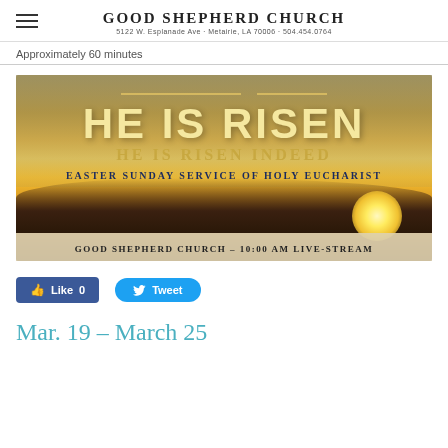Good Shepherd Church
5122 W. Esplanade Ave · Metairie, LA 70006 · 504.454.0764
Approximately 60 minutes
[Figure (photo): Easter Sunday Service promotional image with golden sunrise background, large text 'HE IS RISEN' in cream/yellow, 'HE IS RISEN INDEED' in gold, 'Easter Sunday Service of Holy Eucharist' in dark blue. Bottom bar reads 'Good Shepherd Church – 10:00 AM Live-stream'.]
Like 0   Tweet
Mar. 19 – March 25